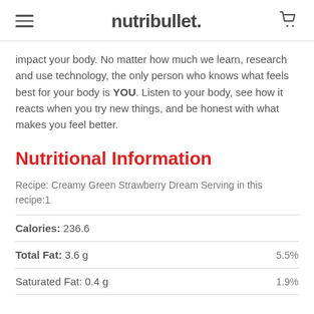nutribullet.
impact your body. No matter how much we learn, research and use technology, the only person who knows what feels best for your body is YOU. Listen to your body, see how it reacts when you try new things, and be honest with what makes you feel better.
Nutritional Information
Recipe: Creamy Green Strawberry Dream Serving in this recipe:1
| Nutrient | Amount | % Daily Value |
| --- | --- | --- |
| Calories | 236.6 |  |
| Total Fat | 3.6 g | 5.5% |
| Saturated Fat | 0.4 g | 1.9% |